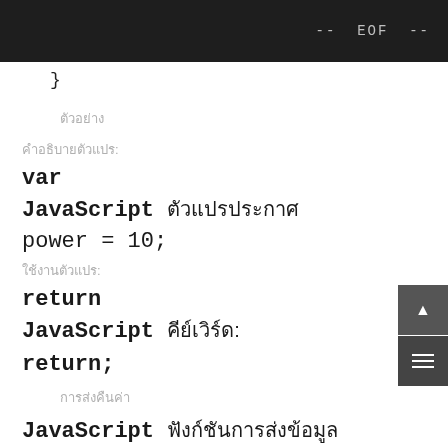-- EOF --
}
ตัวอย่าง
คำอธิบายตัวแปร:
var
JavaScript ตัวแปรประกาศ
power = 10;
ใช้งานตัวแปร:
return
JavaScript คีย์เวิร์ด:
return;
การส่งคืนค่า
JavaScript ฟังก์ชันการส่งข้อมูล